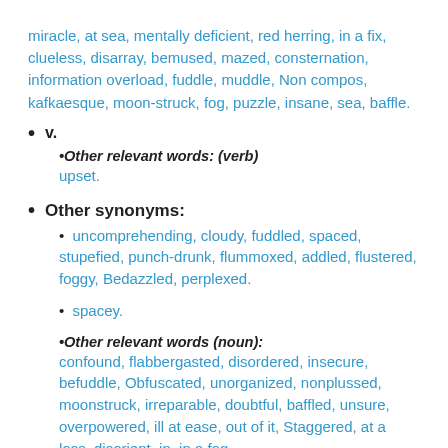miracle, at sea, mentally deficient, red herring, in a fix, clueless, disarray, bemused, mazed, consternation, information overload, fuddle, muddle, Non compos, kafkaesque, moon-struck, fog, puzzle, insane, sea, baffle.
v.
•Other relevant words: (verb) upset.
Other synonyms:
• uncomprehending, cloudy, fuddled, spaced, stupefied, punch-drunk, flummoxed, addled, flustered, foggy, Bedazzled, perplexed.
• spacey.
•Other relevant words (noun): confound, flabbergasted, disordered, insecure, befuddle, Obfuscated, unorganized, nonplussed, moonstruck, irreparable, doubtful, baffled, unsure, overpowered, ill at ease, out of it, Staggered, at a loss, disorient, in, in a fog,